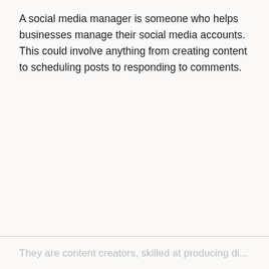A social media manager is someone who helps businesses manage their social media accounts. This could involve anything from creating content to scheduling posts to responding to comments.
They are content creators, skilled at producing di...